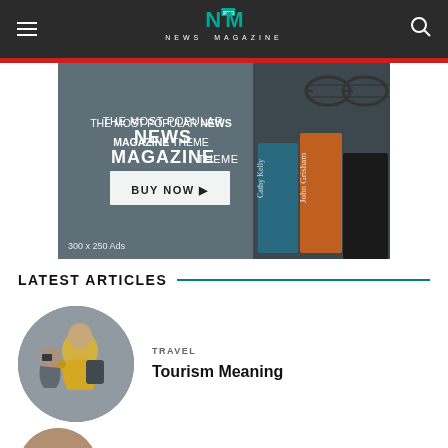NEWS MAGAZINE
[Figure (screenshot): Advertisement banner for a News Magazine theme. Text reads: THE MOST POPULAR NEWS MAGAZINE THEME with a BUY NOW button. Shows stacked books in background. Label: 300 x 250 Ads]
LATEST ARTICLES
[Figure (photo): Circular thumbnail photo of people taking a selfie, one wearing a yellow jacket]
TRAVEL
Tourism Meaning
[Figure (photo): Partial circular thumbnail at bottom of page]